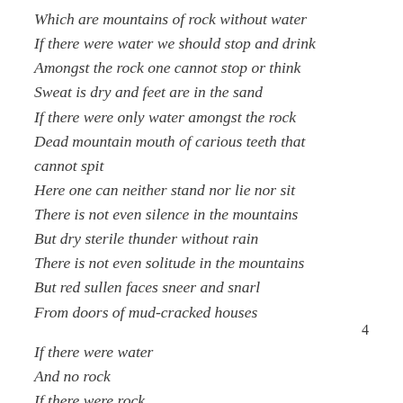Which are mountains of rock without water
If there were water we should stop and drink
Amongst the rock one cannot stop or think
Sweat is dry and feet are in the sand
If there were only water amongst the rock
Dead mountain mouth of carious teeth that cannot spit
Here one can neither stand nor lie nor sit
There is not even silence in the mountains
But dry sterile thunder without rain
There is not even solitude in the mountains
But red sullen faces sneer and snarl
From doors of mud-cracked houses
4
If there were water
And no rock
If there were rock